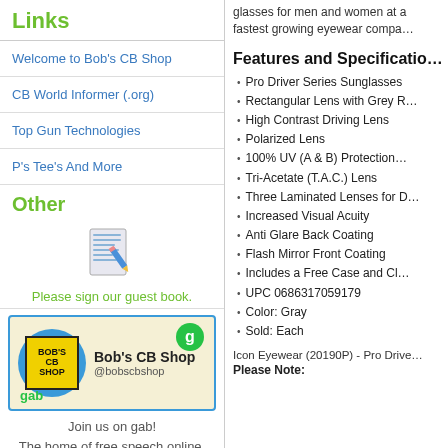Links
Welcome to Bob's CB Shop
CB World Informer (.org)
Top Gun Technologies
P's Tee's And More
Other
[Figure (illustration): Document/notepad icon with pencil]
Please sign our guest book.
[Figure (logo): Bob's CB Shop Gab social media banner with yellow/blue logo and green G circle]
Join us on gab!
The home of free speech online.
glasses for men and women at a fastest growing eyewear compa…
Features and Specificatio…
Pro Driver Series Sunglasses
Rectangular Lens with Grey R…
High Contrast Driving Lens
Polarized Lens
100% UV (A & B) Protection…
Tri-Acetate (T.A.C.) Lens
Three Laminated Lenses for D…
Increased Visual Acuity
Anti Glare Back Coating
Flash Mirror Front Coating
Includes a Free Case and Cl…
UPC 0686317059179
Color: Gray
Sold: Each
Icon Eyewear (20190P) - Pro Drive…
Please Note: